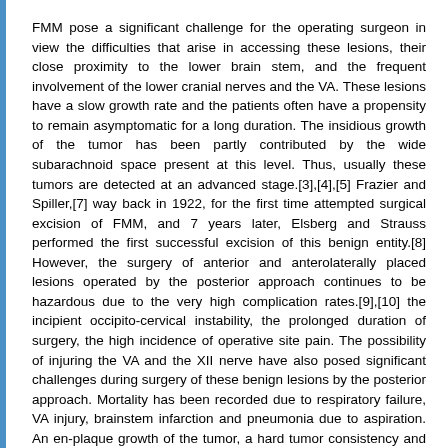FMM pose a significant challenge for the operating surgeon in view the difficulties that arise in accessing these lesions, their close proximity to the lower brain stem, and the frequent involvement of the lower cranial nerves and the VA. These lesions have a slow growth rate and the patients often have a propensity to remain asymptomatic for a long duration. The insidious growth of the tumor has been partly contributed by the wide subarachnoid space present at this level. Thus, usually these tumors are detected at an advanced stage.[3],[4],[5] Frazier and Spiller,[7] way back in 1922, for the first time attempted surgical excision of FMM, and 7 years later, Elsberg and Strauss performed the first successful excision of this benign entity.[8] However, the surgery of anterior and anterolaterally placed lesions operated by the posterior approach continues to be hazardous due to the very high complication rates.[9],[10] the incipient occipito-cervical instability, the prolonged duration of surgery, the high incidence of operative site pain. The possibility of injuring the VA and the XII nerve have also posed significant challenges during surgery of these benign lesions by the posterior approach. Mortality has been recorded due to respiratory failure, VA injury, brainstem infarction and pneumonia due to aspiration. An en-plaque growth of the tumor, a hard tumor consistency and the presence of strong adhesions of the tumor capsule to adjacent neurovascular structures are potential risk factors leading to lower cranial nerve deficits and subsequent morbidity.[11]
Surgery of anterior and anterolaterally placed FMM was revolutionized in 1988 by George, et al.[12] He described the FLA for these tumors, which was similar